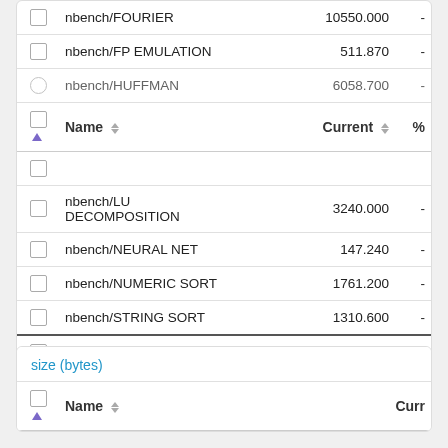|  | Name | Current | % |
| --- | --- | --- | --- |
|  | nbench/FOURIER | 10550.000 | - |
|  | nbench/FP EMULATION | 511.870 | - |
|  | nbench/HUFFMAN | 6058.700 | - |
|  | Name | Current | % |
|  | nbench/LU DECOMPOSITION | 3240.000 | - |
|  | nbench/NEURAL NET | 147.240 | - |
|  | nbench/NUMERIC SORT | 1761.200 | - |
|  | nbench/STRING SORT | 1310.600 | - |
|  | Geometric Mean | 387.285 | - |
size (bytes)
|  | Name | Curr |
| --- | --- | --- |